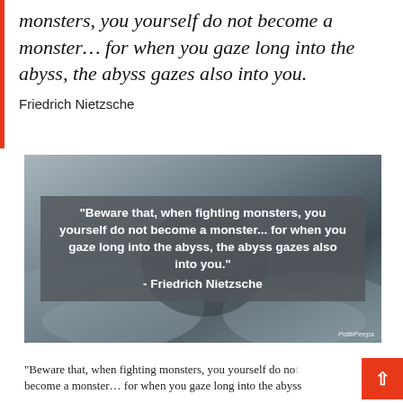monsters, you yourself do not become a monster... for when you gaze long into the abyss, the abyss gazes also into you.
Friedrich Nietzsche
[Figure (illustration): Dark atmospheric image with a semi-transparent grey overlay box containing the quote: "Beware that, when fighting monsters, you yourself do not become a monster... for when you gaze long into the abyss, the abyss gazes also into you." - Friedrich Nietzsche, with PolitiPeeps watermark at bottom right]
“Beware that, when fighting monsters, you yourself do not become a monster... for when you gaze long into the abyss